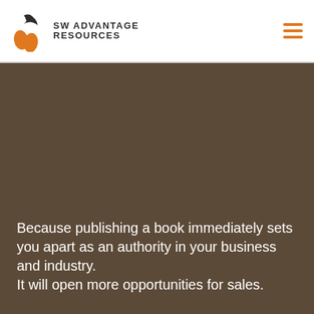[Figure (logo): SW Advantage Resources logo with orange shield/swoosh icon and dark text]
[Figure (other): Hamburger menu icon with three orange horizontal bars]
Because publishing a book immediately sets you apart as an authority in your business and industry.
It will open more opportunities for sales.